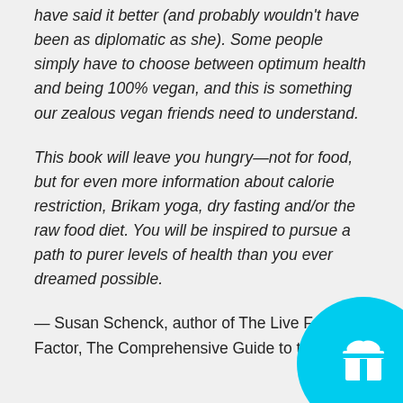have said it better (and probably wouldn't have been as diplomatic as she). Some people simply have to choose between optimum health and being 100% vegan, and this is something our zealous vegan friends need to understand.
This book will leave you hungry—not for food, but for even more information about calorie restriction, Brikam yoga, dry fasting and/or the raw food diet. You will be inspired to pursue a path to purer levels of health than you ever dreamed possible.
— Susan Schenck, author of The Live Food Factor, The Comprehensive Guide to the